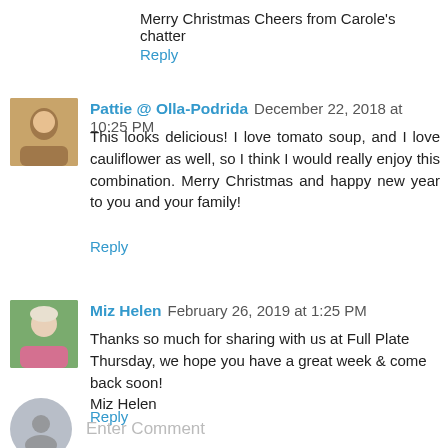Merry Christmas Cheers from Carole's chatter
Reply
Pattie @ Olla-Podrida  December 22, 2018 at 10:25 PM
This looks delicious! I love tomato soup, and I love cauliflower as well, so I think I would really enjoy this combination. Merry Christmas and happy new year to you and your family!
Reply
Miz Helen  February 26, 2019 at 1:25 PM
Thanks so much for sharing with us at Full Plate Thursday, we hope you have a great week & come back soon!
Miz Helen
Reply
Enter Comment